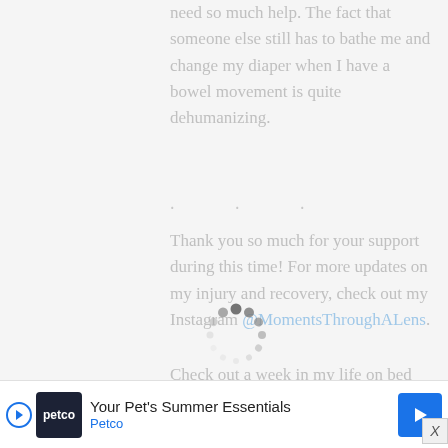need so much help. The fact that someone else still has to bathe me and change my diaper when I have a bowel movement is quite dehumanizing.
* * *
Thank you so much for your support during this time! For more updates on my injury and recovery, check out my Instagram @MomentsThroughALens.
Check out a week in my life on bed rest here:
[Figure (screenshot): YouTube video card thumbnail showing 'Sitting Up! + Swarm ...' with a circular profile photo of a woman and a three-dot menu icon, displayed on a gray background]
[Figure (screenshot): Loading spinner overlay (circular dashes indicator) centered on the page]
[Figure (screenshot): Advertisement banner for Petco - 'Your Pet's Summer Essentials' with Petco logo, play button, and blue arrow navigation button at bottom of page]